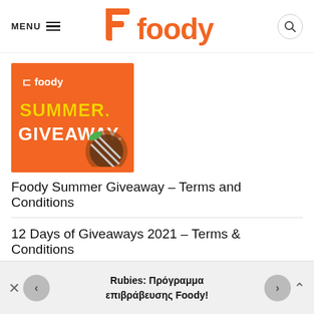MENU  foody
[Figure (screenshot): Foody Summer Giveaway promotional banner image with orange background, foody logo, and text SUMMER. GIVEAWAY]
Foody Summer Giveaway – Terms and Conditions
12 Days of Giveaways 2021 – Terms & Conditions
[Figure (screenshot): Partial orange promotional image with gift icon at bottom of page]
Rubies: Πρόγραμμα επιβράβευσης Foody!